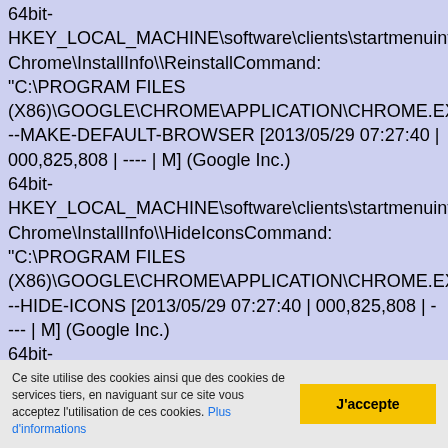64bit-HKEY_LOCAL_MACHINE\software\clients\startmenuinternet\GoogleChrome\InstallInfo\\ReinstallCommand: "C:\PROGRAM FILES (X86)\GOOGLE\CHROME\APPLICATION\CHROME.EXE" --MAKE-DEFAULT-BROWSER [2013/05/29 07:27:40 | 000,825,808 | ---- | M] (Google Inc.) 64bit-HKEY_LOCAL_MACHINE\software\clients\startmenuinternet\GoogleChrome\InstallInfo\\HideIconsCommand: "C:\PROGRAM FILES (X86)\GOOGLE\CHROME\APPLICATION\CHROME.EXE" --HIDE-ICONS [2013/05/29 07:27:40 | 000,825,808 | ---- | M] (Google Inc.) 64bit-HKEY_LOCAL_MACHINE\software\clients\startmenuinternet\GoogleChrome\InstallInfo\\ShowIconsCommand: "C:\PROGRAM FILES (X86)\GOOGLE\CHROME\APPLICATION\CHROME.EXE" --SHOW-ICONS [2013/05/29 07:27:40 | 000,825,808 | ---- | M] (Google Inc.) 64bit-
Ce site utilise des cookies ainsi que des cookies de services tiers, en naviguant sur ce site vous acceptez l'utilisation de ces cookies. Plus d'informations